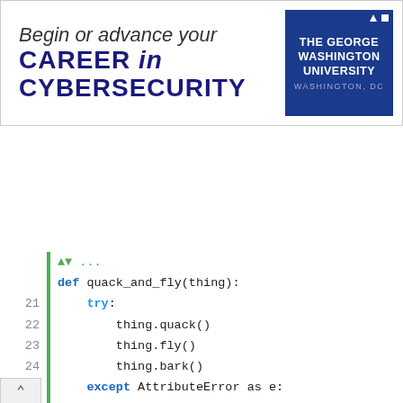[Figure (other): Advertisement banner: 'Begin or advance your CAREER in CYBERSECURITY' with The George Washington University logo, Washington DC]
Code snippet showing Python duck typing example with function quack_and_fly(thing) using try/except AttributeError, lines 21-39, with Duck() and Person() object calls and commented output